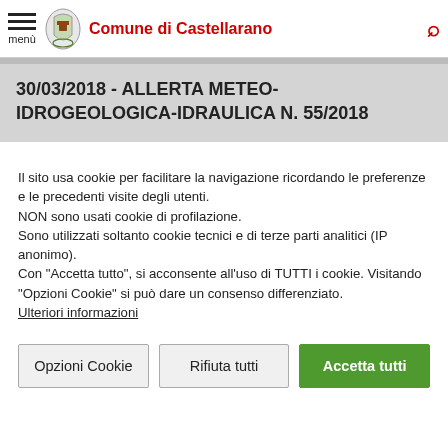Comune di Castellarano
30/03/2018 - ALLERTA METEO-IDROGEOLOGICA-IDRAULICA N. 55/2018
Il sito usa cookie per facilitare la navigazione ricordando le preferenze e le precedenti visite degli utenti.
NON sono usati cookie di profilazione.
Sono utilizzati soltanto cookie tecnici e di terze parti analitici (IP anonimo).
Con "Accetta tutto", si acconsente all'uso di TUTTI i cookie.
Visitando "Opzioni Cookie" si può dare un consenso differenziato.
Ulteriori informazioni
Opzioni Cookie
Rifiuta tutti
Accetta tutti